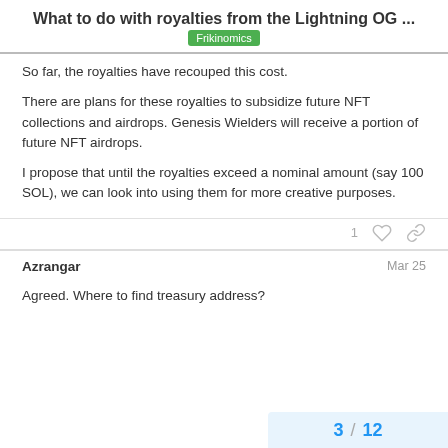What to do with royalties from the Lightning OG ...
Frikinomics
So far, the royalties have recouped this cost.
There are plans for these royalties to subsidize future NFT collections and airdrops. Genesis Wielders will receive a portion of future NFT airdrops.
I propose that until the royalties exceed a nominal amount (say 100 SOL), we can look into using them for more creative purposes.
1
Azrangar
Mar 25
Agreed. Where to find treasury address?
3 / 12